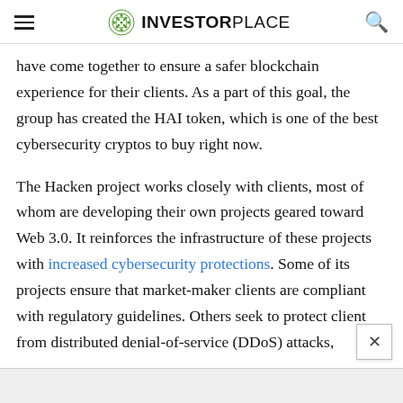INVESTORPLACE
have come together to ensure a safer blockchain experience for their clients. As a part of this goal, the group has created the HAI token, which is one of the best cybersecurity cryptos to buy right now.
The Hacken project works closely with clients, most of whom are developing their own projects geared toward Web 3.0. It reinforces the infrastructure of these projects with increased cybersecurity protections. Some of its projects ensure that market-maker clients are compliant with regulatory guidelines. Others seek to protect clients from distributed denial-of-service (DDoS) attacks,